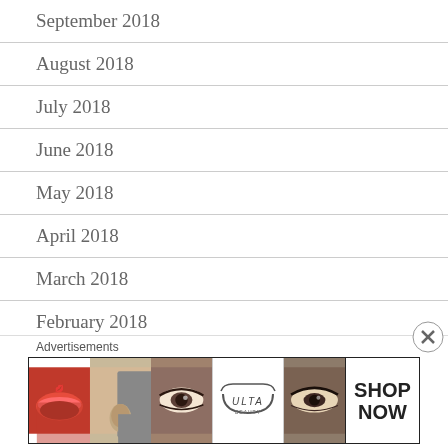September 2018
August 2018
July 2018
June 2018
May 2018
April 2018
March 2018
February 2018
January 2018
December 2017
November 2017
Advertisements
[Figure (other): Ulta Beauty advertisement banner showing cosmetic product photos (lips, brush, eye, Ulta logo, eye makeup) with SHOP NOW call to action]